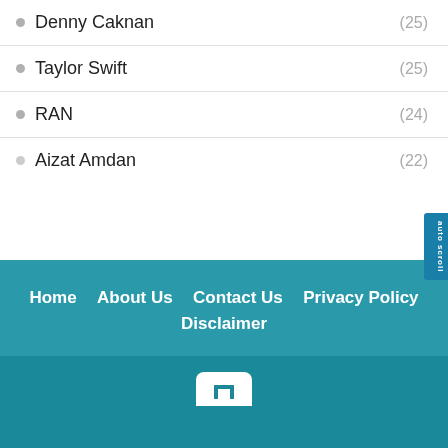Denny Caknan (25)
Taylor Swift (25)
RAN (24)
Aizat Amdan (22)
Home   About Us   Contact Us   Privacy Policy   Disclaimer